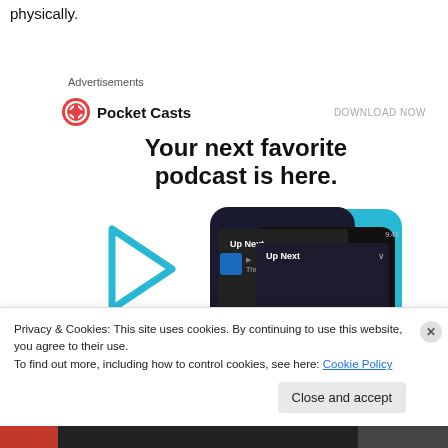physically.
Advertisements
[Figure (infographic): Pocket Casts advertisement with logo, 'DOWNLOAD NOW' link, headline 'Your next favorite podcast is here.' and smartphone app screenshots showing 'Up Next' playlist feature with blue decorative shapes.]
Privacy & Cookies: This site uses cookies. By continuing to use this website, you agree to their use.
To find out more, including how to control cookies, see here: Cookie Policy
Close and accept